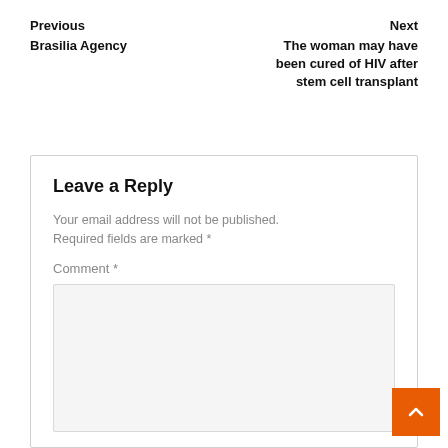Previous
Brasilia Agency
Next
The woman may have been cured of HIV after stem cell transplant
Leave a Reply
Your email address will not be published. Required fields are marked *
Comment *